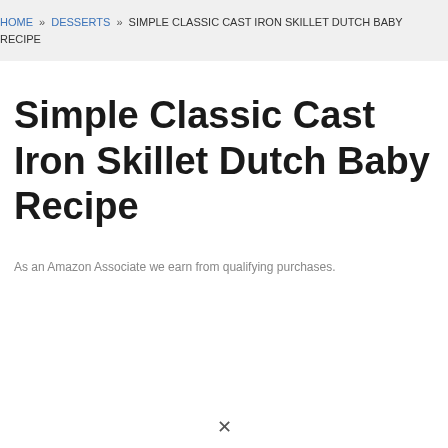HOME » DESSERTS » SIMPLE CLASSIC CAST IRON SKILLET DUTCH BABY RECIPE
Simple Classic Cast Iron Skillet Dutch Baby Recipe
As an Amazon Associate we earn from qualifying purchases.